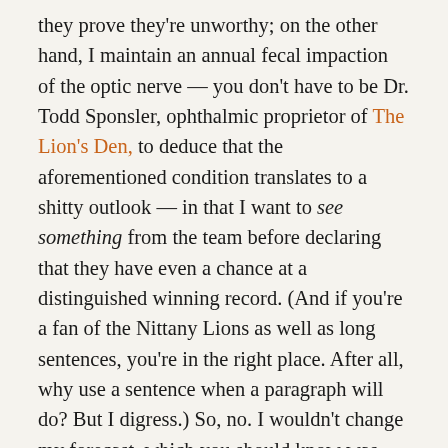they prove they're unworthy; on the other hand, I maintain an annual fecal impaction of the optic nerve — you don't have to be Dr. Todd Sponsler, ophthalmic proprietor of The Lion's Den, to deduce that the aforementioned condition translates to a shitty outlook — in that I want to see something from the team before declaring that they have even a chance at a distinguished winning record. (And if you're a fan of the Nittany Lions as well as long sentences, you're in the right place. After all, why use a sentence when a paragraph will do? But I digress.) So, no. I wouldn't change my forecast, which you should know was Alabama 35, Penn State 10.
As I am always running late with my post-game recaps, by this time you are well aware that the #3